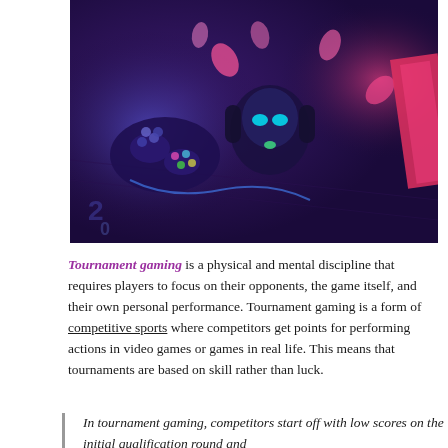[Figure (photo): Aerial/overhead photograph of a gaming setup with controllers, headset, and neon pink/purple/blue lighting on a dark surface]
Tournament gaming is a physical and mental discipline that requires players to focus on their opponents, the game itself, and their own personal performance. Tournament gaming is a form of competitive sports where competitors get points for performing actions in video games or games in real life. This means that tournaments are based on skill rather than luck.
In tournament gaming, competitors start off with low scores on the initial qualification round and